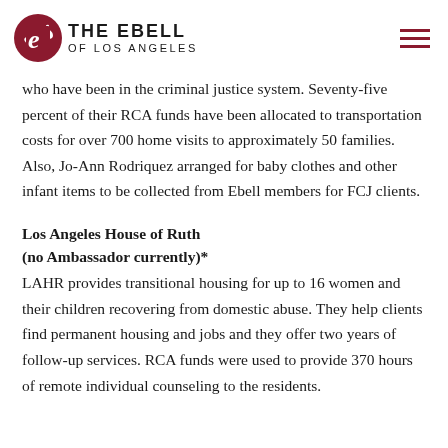THE EBELL OF LOS ANGELES
who have been in the criminal justice system. Seventy-five percent of their RCA funds have been allocated to transportation costs for over 700 home visits to approximately 50 families. Also, Jo-Ann Rodriquez arranged for baby clothes and other infant items to be collected from Ebell members for FCJ clients.
Los Angeles House of Ruth (no Ambassador currently)*
LAHR provides transitional housing for up to 16 women and their children recovering from domestic abuse. They help clients find permanent housing and jobs and they offer two years of follow-up services. RCA funds were used to provide 370 hours of remote individual counseling to the residents.